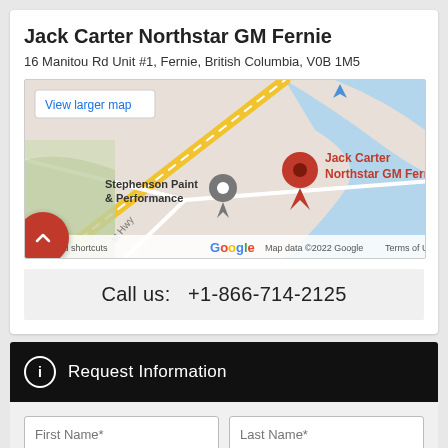Jack Carter Northstar GM Fernie
16 Manitou Rd Unit #1, Fernie, British Columbia, V0B 1M5
[Figure (map): Google Maps embed showing Jack Carter Northstar GM Fernie location with a red pin marker, Stephenson Paint & Performance nearby, and a diagonal road (St Hwy). Includes 'View larger map' button, Google logo, keyboard shortcuts, map data credit © 2022 Google, and Terms of Use link.]
Call us:  +1-866-714-2125
Request Information
First Name*
Last Name*
Email Address*
Phone Number*